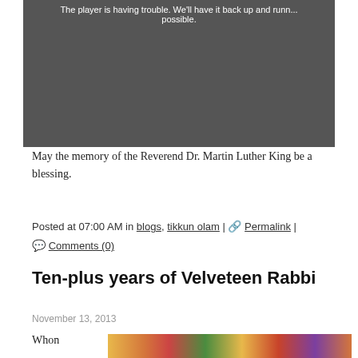[Figure (screenshot): Video player error state showing a dark grayscale image of people with text overlay: 'The player is having trouble. We'll have it back up and running as soon as possible.']
May the memory of the Reverend Dr. Martin Luther King be a blessing.
Posted at 07:00 AM in blogs, tikkun olam | 🔗 Permalink | 💬 Comments (0)
Ten-plus years of Velveteen Rabbi
November 13, 2013
When
[Figure (illustration): Colorful decorative image with warm tones — oranges, yellows, reds, greens — partial view at bottom of page]